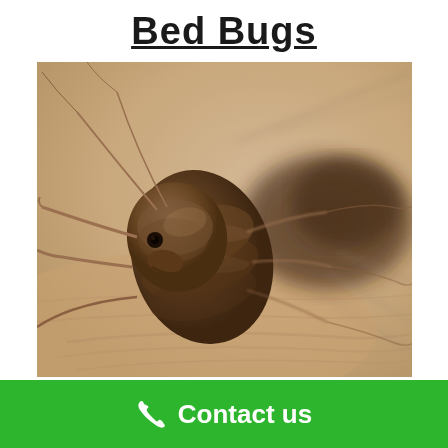Bed Bugs
[Figure (photo): Close-up macro photograph of a bed bug on human skin, showing brown segmented body, antennae, and legs in sharp detail against a blurred beige background.]
Contact us